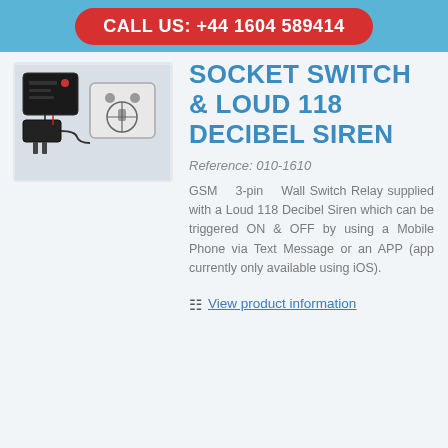CALL US: +44 1604 589414
[Figure (photo): Product photo showing a GSM 3-pin wall socket switch relay and power adapter]
SOCKET SWITCH & LOUD 118 DECIBEL SIREN
Reference: 010-1610
GSM 3-pin Wall Switch Relay supplied with a Loud 118 Decibel Siren which can be triggered ON & OFF by using a Mobile Phone via Text Message or an APP (app currently only available using iOS).
View product information